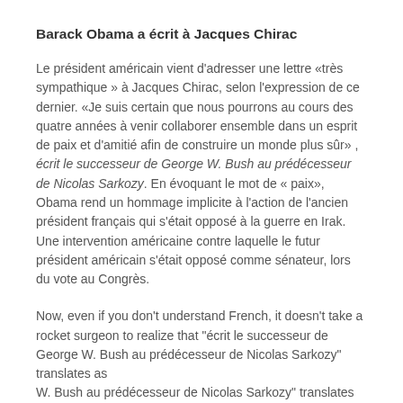Barack Obama a écrit à Jacques Chirac
Le président américain vient d'adresser une lettre «très sympathique » à Jacques Chirac, selon l'expression de ce dernier. «Je suis certain que nous pourrons au cours des quatre années à venir collaborer ensemble dans un esprit de paix et d'amitié afin de construire un monde plus sûr» , écrit le successeur de George W. Bush au prédécesseur de Nicolas Sarkozy. En évoquant le mot de « paix», Obama rend un hommage implicite à l'action de l'ancien président français qui s'était opposé à la guerre en Irak. Une intervention américaine contre laquelle le futur président américain s'était opposé comme sénateur, lors du vote au Congrès.
Now, even if you don't understand French, it doesn't take a rocket surgeon to realize that "écrit le successeur de George W. Bush au prédécesseur de Nicolas Sarkozy" translates as